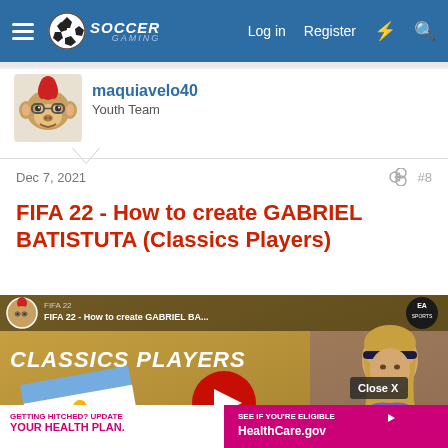SoccerGaming — Log in  Register
[Figure (screenshot): Forum user avatar: pixel-art monkey character with red mohawk and glasses]
maquiavelo40
Youth Team
Dec 7, 2021  #8
FIFA 22 - How to create GABRIEL BATISTUTA (Classics Players)
[Figure (screenshot): YouTube video thumbnail: FIFA 22 - How to create GABRIEL BA... showing CLASSICS PLAYERS text over a sandy background with an Argentina flag and Gabriel Batistuta 3D render. A YouTube play button is overlaid in the center. EA Sports logo visible top right. An ad overlay at the bottom reads GETTING HITCHED? UPDATE YOUR HEALTH PLAN. / SEE IF YOU'RE ELIGIBLE HealthCare.gov with a Close X button.]